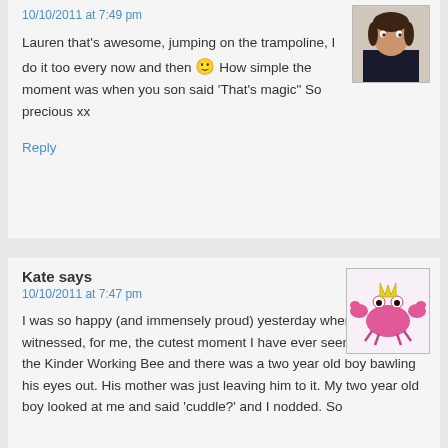10/10/2011 at 7:49 pm
Lauren that's awesome, jumping on the trampoline, I do it too every now and then 🙂 How simple the moment was when you son said 'That's magic" So precious xx
Reply
Kate says
10/10/2011 at 7:47 pm
I was so happy (and immensely proud) yesterday when I witnessed, for me, the cutest moment I have ever seen. We were at the Kinder Working Bee and there was a two year old boy bawling his eyes out. His mother was just leaving him to it. My two year old boy looked at me and said 'cuddle?' and I nodded. So